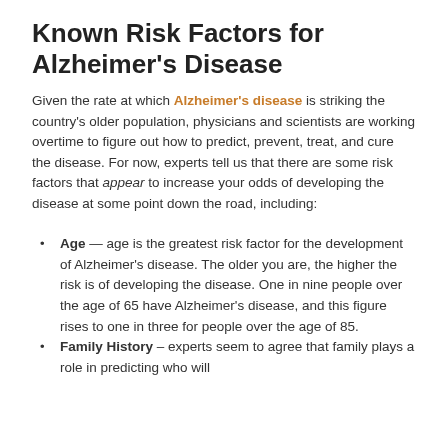Known Risk Factors for Alzheimer's Disease
Given the rate at which Alzheimer's disease is striking the country's older population, physicians and scientists are working overtime to figure out how to predict, prevent, treat, and cure the disease. For now, experts tell us that there are some risk factors that appear to increase your odds of developing the disease at some point down the road, including:
Age — age is the greatest risk factor for the development of Alzheimer's disease. The older you are, the higher the risk is of developing the disease. One in nine people over the age of 65 have Alzheimer's disease, and this figure rises to one in three for people over the age of 85.
Family History – experts seem to agree that family plays a role in predicting who will...